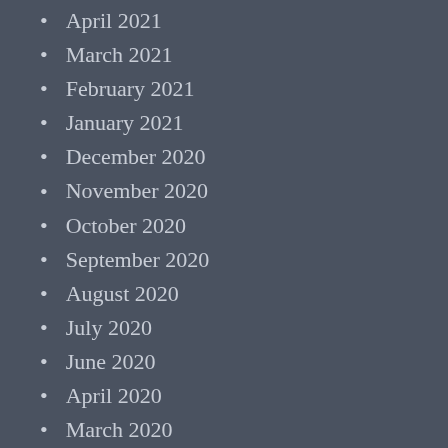April 2021
March 2021
February 2021
January 2021
December 2020
November 2020
October 2020
September 2020
August 2020
July 2020
June 2020
April 2020
March 2020
February 2020
January 2020
December 2019
November 2019